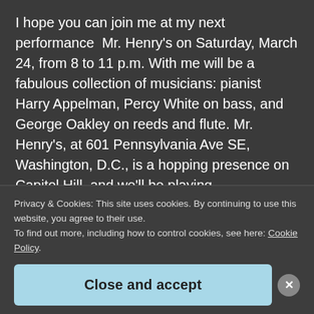I hope you can join me at my next performance  Mr. Henry's on Saturday, March 24, from 8 to 11 p.m. With me will be a fabulous collection of musicians: pianist Harry Appelman, Percy White on bass, and George Oakley on reeds and flute. Mr. Henry's, at 601 Pennsylvania Ave SE, Washington, D.C., is a hopping presence on Capitol Hill, and we'll be playing
Continue reading  →
Privacy & Cookies: This site uses cookies. By continuing to use this website, you agree to their use.
To find out more, including how to control cookies, see here: Cookie Policy
Close and accept